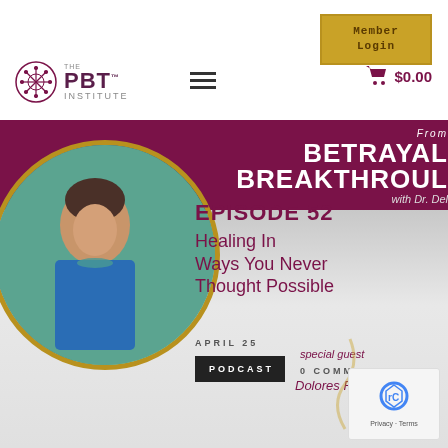[Figure (screenshot): PBT Institute website screenshot showing navigation with Member Login button, logo, hamburger menu, and cart with $0.00]
From BETRAYAL to BREAKTHROUGH with Dr. Del
[Figure (photo): Circular portrait photo of a woman in a blue top, smiling, with greenery in the background, framed by a gold circular border]
EPISODE 52
Healing In Ways You Never Thought Possible
APRIL 25
PODCAST
0 COMMENTS
special guest Dolores Fazzino